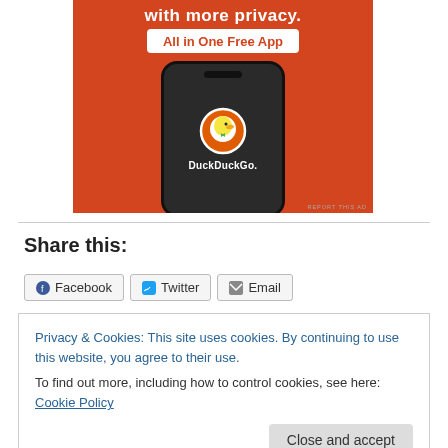[Figure (illustration): DuckDuckGo advertisement showing a smartphone with the DuckDuckGo logo on an orange background. Text reads 'with more privacy. All in One Free App'. Small 'REPORT THIS AD' text in lower right corner.]
Share this:
Facebook  Twitter  Email
Privacy & Cookies: This site uses cookies. By continuing to use this website, you agree to their use.
To find out more, including how to control cookies, see here: Cookie Policy
Close and accept